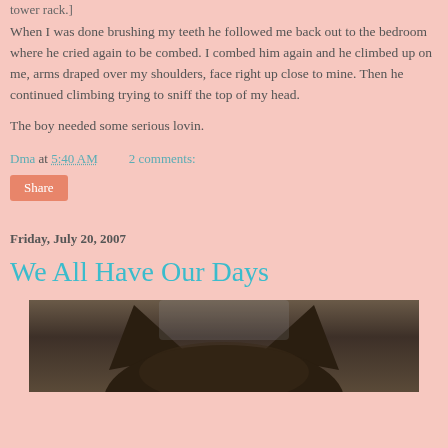tower rack.]
When I was done brushing my teeth he followed me back out to the bedroom where he cried again to be combed. I combed him again and he climbed up on me, arms draped over my shoulders, face right up close to mine. Then he continued climbing trying to sniff the top of my head.
The boy needed some serious lovin.
Dma at 5:40 AM    2 comments:
Share
Friday, July 20, 2007
We All Have Our Days
[Figure (photo): Close-up photo of a dark-colored cat, showing the top of its head and ears from a low angle]